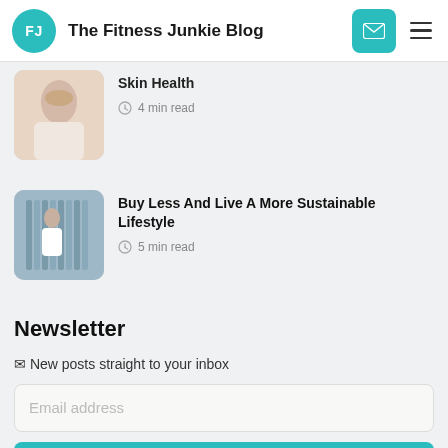The Fitness Junkie Blog
Skin Health
4 min read
Buy Less And Live A More Sustainable Lifestyle
5 min read
Newsletter
✉ New posts straight to your inbox
Email address
Subscribe